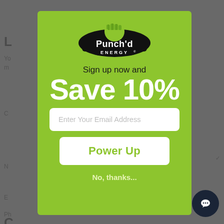[Figure (logo): Punch'd Energy logo — green fist with 'Punch'd Energy' text in bold white on black badge]
Sign up now and
Save 10%
Enter Your Email Address
Power Up
No, thanks...